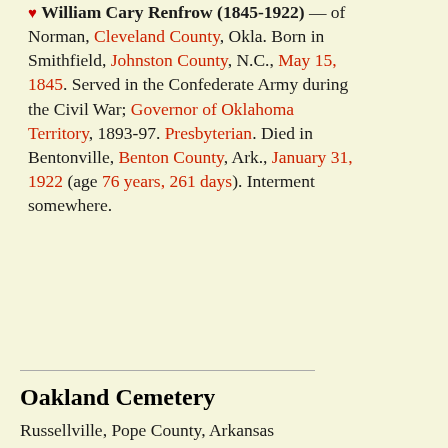♥ William Cary Renfrow (1845-1922) — of Norman, Cleveland County, Okla. Born in Smithfield, Johnston County, N.C., May 15, 1845. Served in the Confederate Army during the Civil War; Governor of Oklahoma Territory, 1893-97. Presbyterian. Died in Bentonville, Benton County, Ark., January 31, 1922 (age 76 years, 261 days). Interment somewhere.
Oakland Cemetery
Russellville, Pope County, Arkansas